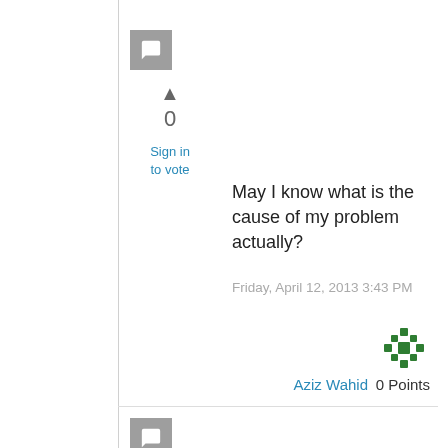[Figure (other): Comment/reply icon button - grey square with speech bubble]
▲
0
Sign in to vote
May I know what is the cause of my problem actually?
Friday, April 12, 2013 3:43 PM
[Figure (other): Green decorative avatar/badge icon for user Aziz Wahid]
Aziz Wahid
0 Points
[Figure (other): Comment/reply icon button - grey square with speech bubble (second)]